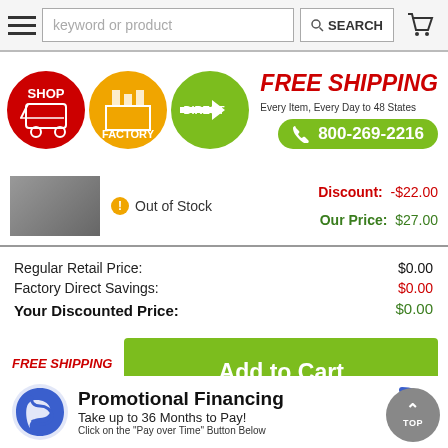[Figure (screenshot): Navigation bar with hamburger menu, keyword or product search box, SEARCH button, and shopping cart icon]
[Figure (logo): Shop Factory Direct logo with three circular icons (red SHOP, yellow FACTORY, green DIRECT) and FREE SHIPPING text with phone number 800-269-2216]
Out of Stock
Discount: -$22.00
Our Price: $27.00
| Regular Retail Price: | $0.00 |
| Factory Direct Savings: | $0.00 |
| Your Discounted Price: | $0.00 |
FREE SHIPPING
To 48 States
Add to Cart
Promotional Financing
Take up to 36 Months to Pay!
Click on the "Pay over Time" Button Below